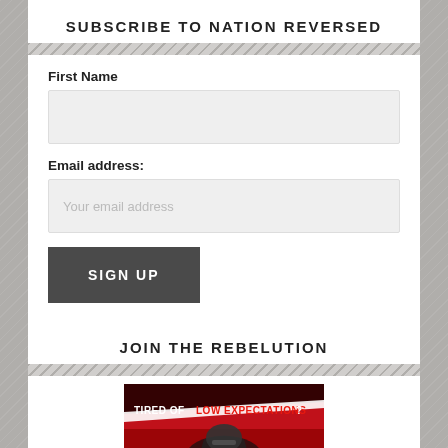SUBSCRIBE TO NATION REVERSED
First Name
Email address:
SIGN UP
JOIN THE REBELUTION
[Figure (illustration): Red banner/advertisement image with text 'TIRED OF LOW EXPECTATIONS?' in white and red letters on a dark red background with stylized graphic elements]